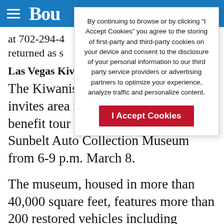Bou
at 702-294-4... returned as s...
Las Vegas Kiv...
By continuing to browse or by clicking “I Accept Cookies” you agree to the storing of first-party and third-party cookies on your device and consent to the disclosure of your personal information to our third party service providers or advertising partners to optimize your experience, analyze traffic and personalize content.
I Accept Cookies
The Kiwanis Club of Las Vegas invites area residents to join it on a benefit tour of Jim Rogers’ renowned Sunbelt Auto Collection Museum from 6-9 p.m. March 8.
The museum, housed in more than 40,000 square feet, features more than 200 restored vehicles including foreign sports cars, Model Ts and Corvettes. Additionally, there